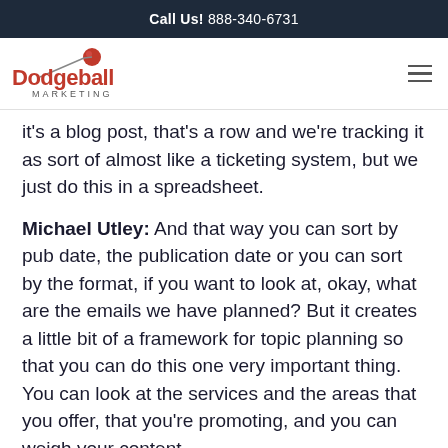Call Us! 888-340-6731
[Figure (logo): Dodgeball Marketing logo with red ball and arrow graphic]
it's a blog post, that's a row and we're tracking it as sort of almost like a ticketing system, but we just do this in a spreadsheet.
Michael Utley: And that way you can sort by pub date, the publication date or you can sort by the format, if you want to look at, okay, what are the emails we have planned? But it creates a little bit of a framework for topic planning so that you can do this one very important thing. You can look at the services and the areas that you offer, that you're promoting, and you can weigh your content